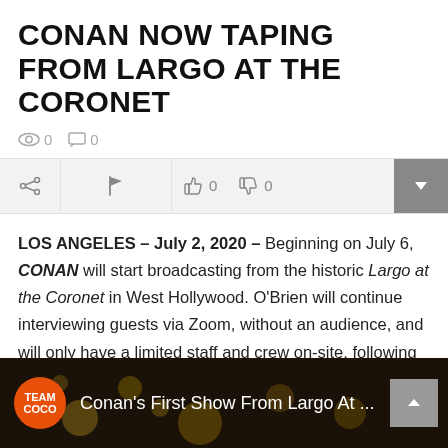CONAN NOW TAPING FROM LARGO AT THE CORONET
0 views  0 comments
[Figure (screenshot): Toolbar with share, flag, thumbs up (0), thumbs down (0) buttons and a dropdown arrow]
LOS ANGELES – July 2, 2020 – Beginning on July 6, CONAN will start broadcasting from the historic Largo at the Coronet in West Hollywood. O'Brien will continue interviewing guests via Zoom, without an audience, and will only have a limited staff and crew on-site, following government and industry health and safety protocols
[Figure (screenshot): Team Coco video thumbnail strip showing 'Conan's First Show From Largo At ...' with orange Team Coco logo badge and scroll-up button]